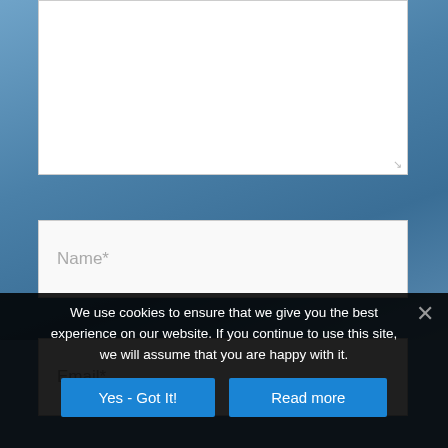[Figure (screenshot): Textarea (comment input box) with resize handle at bottom-right, on a blue photo background]
Name*
Email*
Website
We use cookies to ensure that we give you the best experience on our website. If you continue to use this site, we will assume that you are happy with it.
Yes - Got It!
Read more